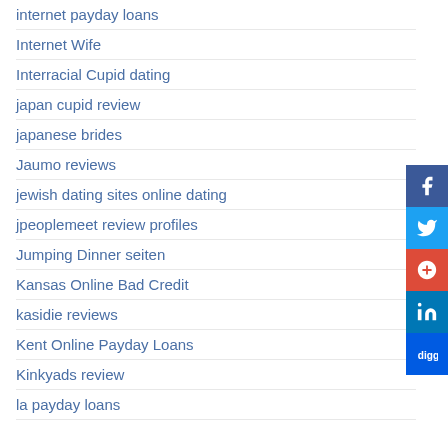internet payday loans
Internet Wife
Interracial Cupid dating
japan cupid review
japanese brides
Jaumo reviews
jewish dating sites online dating
jpeoplemeet review profiles
Jumping Dinner seiten
Kansas Online Bad Credit
kasidie reviews
Kent Online Payday Loans
Kinkyads review
la payday loans